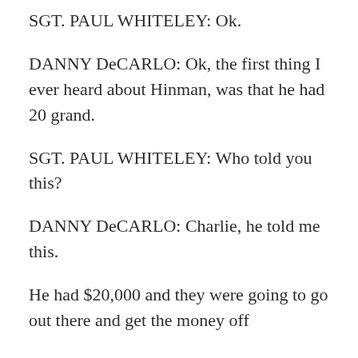SGT. PAUL WHITELEY: Ok.
DANNY DeCARLO: Ok, the first thing I ever heard about Hinman, was that he had 20 grand.
SGT. PAUL WHITELEY: Who told you this?
DANNY DeCARLO: Charlie, he told me this.
He had $20,000 and they were going to go out there and get the money off